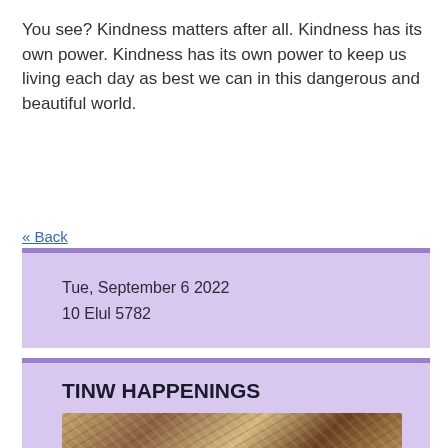You see? Kindness matters after all. Kindness has its own power. Kindness has its own power to keep us living each day as best we can in this dangerous and beautiful world.
« Back
Tue, September 6 2022
10 Elul 5782
TINW HAPPENINGS
[Figure (photo): Close-up photo of food item, appears to be a baked good with crumb topping]